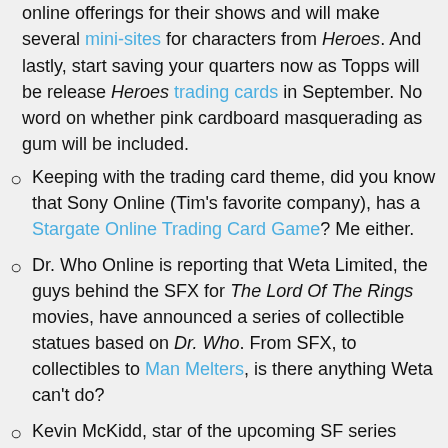online offerings for their shows and will make several mini-sites for characters from Heroes. And lastly, start saving your quarters now as Topps will be release Heroes trading cards in September. No word on whether pink cardboard masquerading as gum will be included.
Keeping with the trading card theme, did you know that Sony Online (Tim's favorite company), has a Stargate Online Trading Card Game? Me either.
Dr. Who Online is reporting that Weta Limited, the guys behind the SFX for The Lord Of The Rings movies, have announced a series of collectible statues based on Dr. Who. From SFX, to collectibles to Man Melters, is there anything Weta can't do?
Kevin McKidd, star of the upcoming SF series